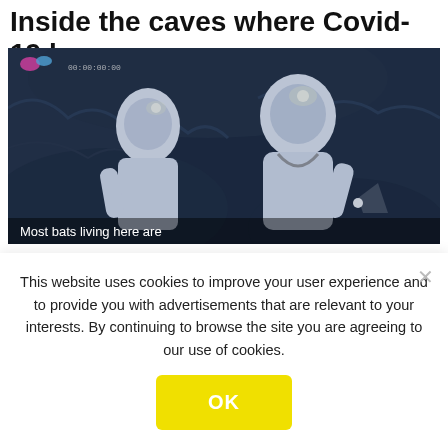Inside the caves where Covid-19 began
[Figure (photo): Two researchers in white hazmat suits with headlamps inside a dark cave. Caption overlay at bottom reads: 'Most bats living here are']
Stills from an internet documentary about research on bats from the researchers in Wuhan
Concern about bat experiments has not been
This website uses cookies to improve your user experience and to provide you with advertisements that are relevant to your interests. By continuing to browse the site you are agreeing to our use of cookies.